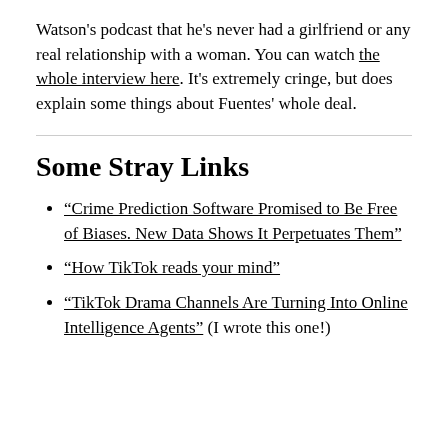Watson's podcast that he's never had a girlfriend or any real relationship with a woman. You can watch the whole interview here. It's extremely cringe, but does explain some things about Fuentes' whole deal.
Some Stray Links
“Crime Prediction Software Promised to Be Free of Biases. New Data Shows It Perpetuates Them”
“How TikTok reads your mind”
“TikTok Drama Channels Are Turning Into Online Intelligence Agents” (I wrote this one!)